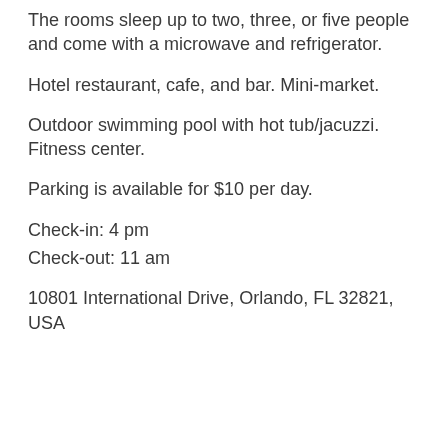The rooms sleep up to two, three, or five people and come with a microwave and refrigerator.
Hotel restaurant, cafe, and bar. Mini-market.
Outdoor swimming pool with hot tub/jacuzzi. Fitness center.
Parking is available for $10 per day.
Check-in: 4 pm
Check-out: 11 am
10801 International Drive, Orlando, FL 32821, USA